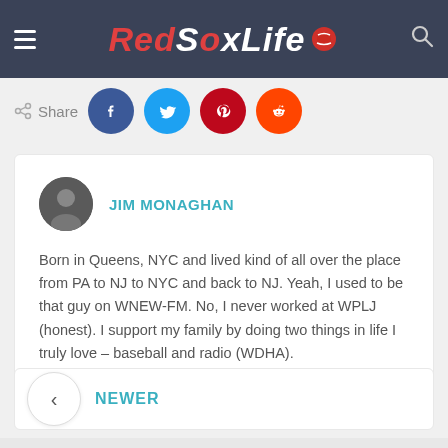RedSoxLife
Share
JIM MONAGHAN
Born in Queens, NYC and lived kind of all over the place from PA to NJ to NYC and back to NJ. Yeah, I used to be that guy on WNEW-FM. No, I never worked at WPLJ (honest). I support my family by doing two things in life I truly love - baseball and radio (WDHA).
NEWER